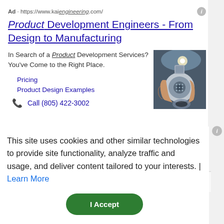Ad · https://www.kaiengineering.com/
Product Development Engineers - From Design to Manufacturing
In Search of a Product Development Services? You've Come to the Right Place.
[Figure (photo): Hands holding a precision-machined mechanical component with circular gear/filter features, in a workshop setting]
Pricing
Product Design Examples
📞 Call (805) 422-3002
This site uses cookies and other similar technologies to provide site functionality, analyze traffic and usage, and deliver content tailored to your interests. | Learn More
I Accept